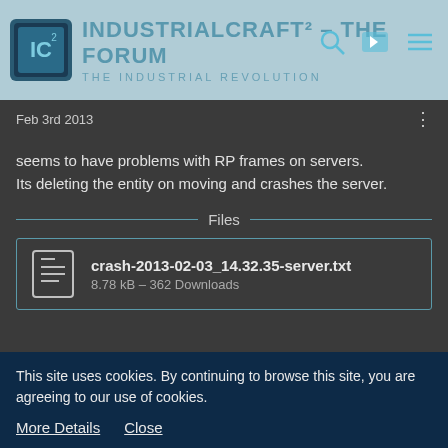IndustrialCraft² – The Forum | The Industrial Revolution
Feb 3rd 2013
seems to have problems with RP frames on servers.
Its deleting the entity on moving and crashes the server.
Files
crash-2013-02-03_14.32.35-server.txt
8.78 kB – 362 Downloads
Hulkie
Tree Cutter
This site uses cookies. By continuing to browse this site, you are agreeing to our use of cookies.
More Details   Close